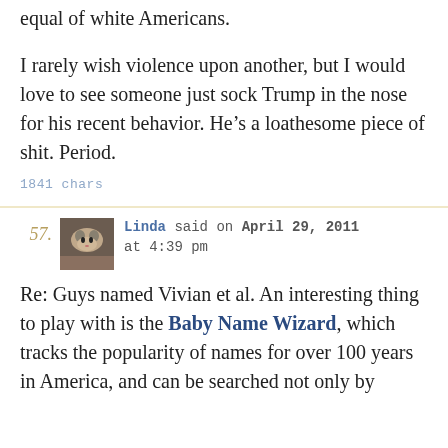equal of white Americans.
I rarely wish violence upon another, but I would love to see someone just sock Trump in the nose for his recent behavior. He's a loathesome piece of shit. Period.
1841 chars
57. Linda said on April 29, 2011 at 4:39 pm
Re: Guys named Vivian et al. An interesting thing to play with is the Baby Name Wizard, which tracks the popularity of names for over 100 years in America, and can be searched not only by